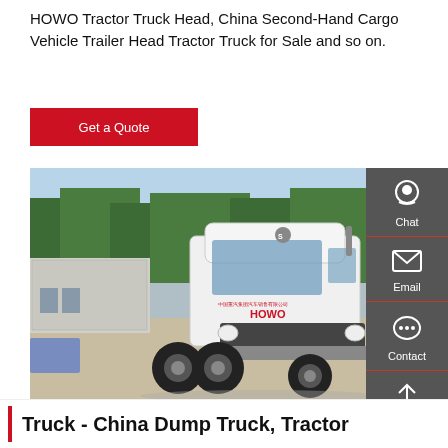HOWO Tractor Truck Head, China Second-Hand Cargo Vehicle Trailer Head Tractor Truck for Sale and so on.
Get a Quote
[Figure (photo): White HOWO tractor truck head parked in a yard with trees and buildings in background. Red truck visible on the right.]
Truck - China Dump Truck, Tractor